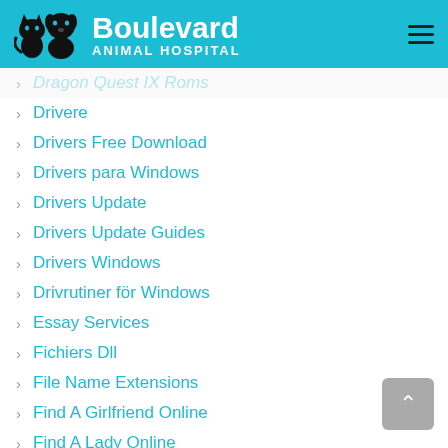[Figure (logo): Boulevard Animal Hospital logo with cat and dog silhouettes on teal/cyan background header, with hamburger menu icon]
Dragon Quest IX Roms
Drivere
Drivers Free Download
Drivers para Windows
Drivers Update
Drivers Update Guides
Drivers Windows
Drivrutiner för Windows
Essay Services
Fichiers Dll
File Name Extensions
Find A Girlfriend Online
Find A Lady Online